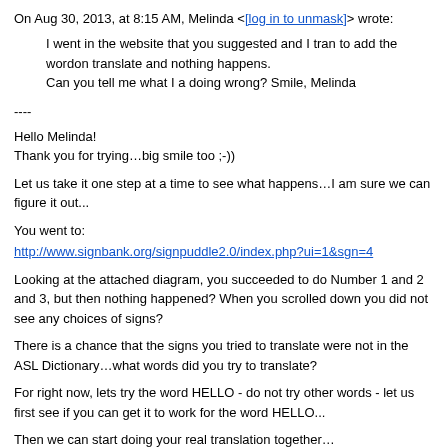On Aug 30, 2013, at 8:15 AM, Melinda <[log in to unmask]> wrote:
I went in the website that you suggested and I tran to add the wordon translate and nothing happens.
Can you tell me what I a doing wrong? Smile, Melinda
----
Hello Melinda!
Thank you for trying…big smile too ;-))
Let us take it one step at a time to see what happens…I am sure we can figure it out...
You went to:
http://www.signbank.org/signpuddle2.0/index.php?ui=1&sgn=4
Looking at the attached diagram, you succeeded to do Number 1 and 2 and 3, but then nothing happened? When you scrolled down you did not see any choices of signs?
There is a chance that the signs you tried to translate were not in the ASL Dictionary…what words did you try to translate?
For right now, lets try the word HELLO  - do not try other words - let us first see if you can get it to work for the word HELLO...
Then we can start doing your real translation together…